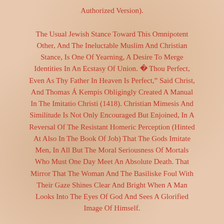Authorized Version). The Usual Jewish Stance Toward This Omnipotent Other, And The Ineluctable Muslim And Christian Stance, Is One Of Yearning, A Desire To Merge Identities In An Ecstasy Of Union. “be Thou Perfect, Even As Thy Father In Heaven Is Perfect,” Said Christ, And Thomas Á Kempis Obligingly Created A Manual In The Imitatio Christi (1418). Christian Mimesis And Similitude Is Not Only Encouraged But Enjoined, In A Reversal Of The Resistant Homeric Perception (Hinted At Also In The Book Of Job) That The Gods Imitate Men, In All But The Moral Seriousness Of Mortals Who Must One Day Meet An Absolute Death. That Mirror That The Woman And The Basiliske Foul With Their Gaze Shines Clear And Bright When A Man Looks Into The Eyes Of God And Sees A Glorified Image Of Himself.